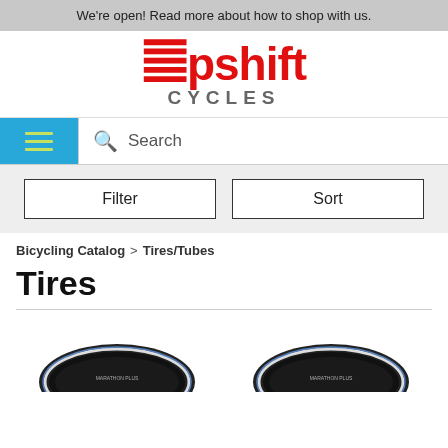We're open! Read more about how to shop with us.
[Figure (logo): Upshift Cycles logo — 'upshift' in bold red with a small stylized 'u' prefix shape, and 'CYCLES' in gray spaced capital letters below]
[Figure (screenshot): Navigation bar with a teal/blue hamburger menu button on the left (three yellow-green lines) and a search bar with magnifying glass icon and 'Search' placeholder text on the right]
[Figure (screenshot): Filter and Sort buttons side by side on a light gray background]
Bicycling Catalog > Tires/Tubes
Tires
[Figure (photo): Two bicycle tire images (dark tires with white sidewall stripe) partially visible at the bottom of the page, side by side]